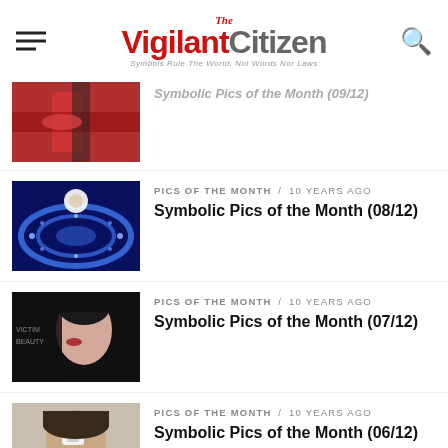The Vigilant Citizen — Symbols Rule The World, Not Words Nor Laws
PICS OF THE MONTH / 10 years ago — Symbolic Pics of the Month (09/12)
PICS OF THE MONTH / 10 years ago — Symbolic Pics of the Month (08/12)
PICS OF THE MONTH / 10 years ago — Symbolic Pics of the Month (07/12)
PICS OF THE MONTH / 10 years ago — Symbolic Pics of the Month (06/12)
PICS OF THE MONTH / 10 years ago — Symbolic Pics of the Month (05/12)